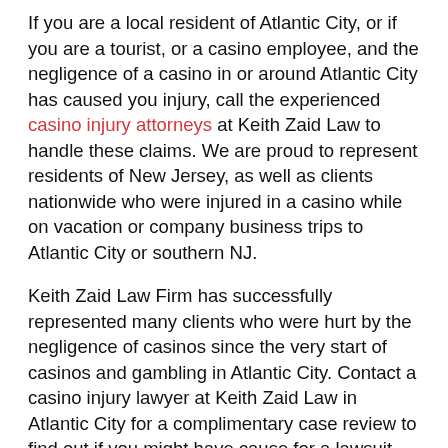If you are a local resident of Atlantic City, or if you are a tourist, or a casino employee, and the negligence of a casino in or around Atlantic City has caused you injury, call the experienced casino injury attorneys at Keith Zaid Law to handle these claims. We are proud to represent residents of New Jersey, as well as clients nationwide who were injured in a casino while on vacation or company business trips to Atlantic City or southern NJ.
Keith Zaid Law Firm has successfully represented many clients who were hurt by the negligence of casinos since the very start of casinos and gambling in Atlantic City. Contact a casino injury lawyer at Keith Zaid Law in Atlantic City for a complimentary case review to find out if you might have cause for a lawsuit against a casino for being responsible for your injuries.